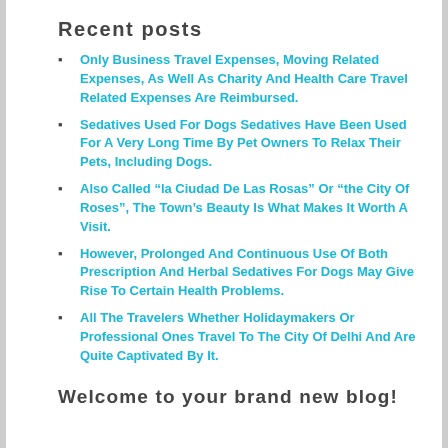Recent posts
Only Business Travel Expenses, Moving Related Expenses, As Well As Charity And Health Care Travel Related Expenses Are Reimbursed.
Sedatives Used For Dogs Sedatives Have Been Used For A Very Long Time By Pet Owners To Relax Their Pets, Including Dogs.
Also Called “la Ciudad De Las Rosas” Or “the City Of Roses”, The Town’s Beauty Is What Makes It Worth A Visit.
However, Prolonged And Continuous Use Of Both Prescription And Herbal Sedatives For Dogs May Give Rise To Certain Health Problems.
All The Travelers Whether Holidaymakers Or Professional Ones Travel To The City Of Delhi And Are Quite Captivated By It.
Welcome to your brand new blog!